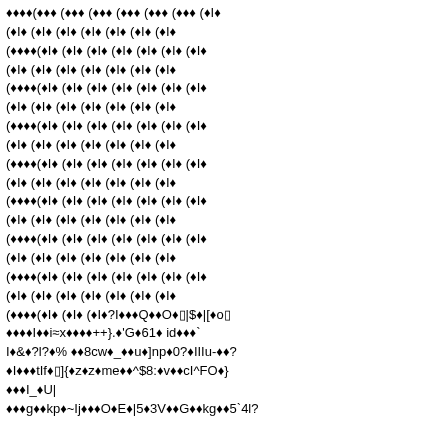Corrupted/garbled text content with replacement characters and symbols throughout the page — appears to be a damaged or improperly encoded document page containing sequences of diamond question-mark replacement characters interspersed with partial readable ASCII characters such as: ?I? ( ?I? ( ?I? ( ?I? ( ?I? ( ?I? ( ?I? ( ?I? ... and ending with fragments like: i?x????++}. ?'G?61? id???` I?&?7l?? % ??8cw?_??u?]np?0??IIIu-??? ?I???tIf I?]{ ?z?z?me??^$8:?v??cI^FO?} ???I_?U| ???g??kp?~Ij???O?E?|5?3V??G??kg??5`4l?